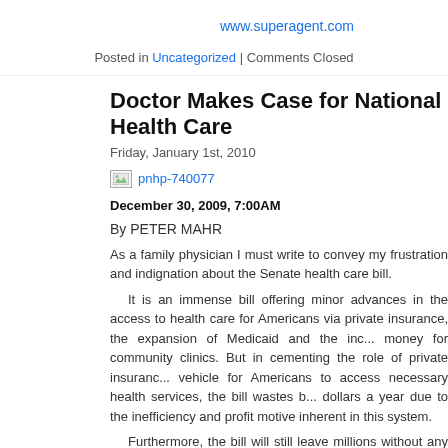www.superagent.com
Posted in Uncategorized | Comments Closed
Doctor Makes Case for National Health Care
Friday, January 1st, 2010
[Figure (other): Broken image placeholder labeled pnhp-740077]
December 30, 2009, 7:00AM
By PETER MAHR
As a family physician I must write to convey my frustration and indignation about the Senate health care bill.
It is an immense bill offering minor advances in the access to health care for Americans via private insurance, the expansion of Medicaid and the increase of money for community clinics. But in cementing the role of private insurance as the vehicle for Americans to access necessary health services, the bill wastes billions of dollars a year due to the inefficiency and profit motive inherent in this system.
Furthermore, the bill will still leave millions without any insurance and even more people underinsured. Those who have insurance with affordable premiums may find the cost-sharing (deductibles, co-pays and out-of-pocket expenses) onerous, and those with insurance offering adequate access to health services will pay premi...